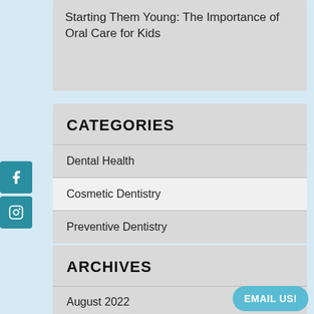Starting Them Young: The Importance of Oral Care for Kids
CATEGORIES
Dental Health
Cosmetic Dentistry
Preventive Dentistry
ARCHIVES
August 2022
July 2022